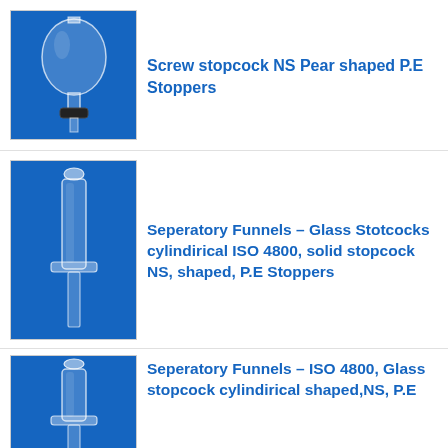[Figure (photo): Pear-shaped separatory funnel with screw stopcock and black cap, on blue background]
Screw stopcock NS Pear shaped P.E Stoppers
[Figure (photo): Cylindrical separatory funnel with glass stopcock on blue background]
Seperatory Funnels - Glass Stotcocks cylindirical ISO 4800, solid stopcock NS, shaped, P.E Stoppers
[Figure (photo): Cylindrical separatory funnel with glass stopcock on blue background]
Seperatory Funnels - ISO 4800, Glass stopcock cylindirical shaped,NS, P.E